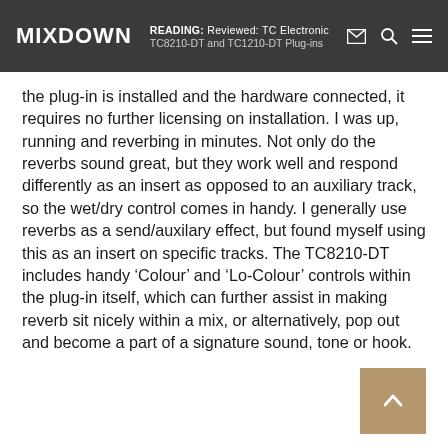MIXDOWN   READING: Reviewed: TC Electronic TC8210-DT and TC1210-DT Plug-ins
the plug-in is installed and the hardware connected, it requires no further licensing on installation. I was up, running and reverbing in minutes. Not only do the reverbs sound great, but they work well and respond differently as an insert as opposed to an auxiliary track, so the wet/dry control comes in handy. I generally use reverbs as a send/auxilary effect, but found myself using this as an insert on specific tracks. The TC8210-DT includes handy ‘Colour’ and ‘Lo-Colour’ controls within the plug-in itself, which can further assist in making reverb sit nicely within a mix, or alternatively, pop out and become a part of a signature sound, tone or hook.